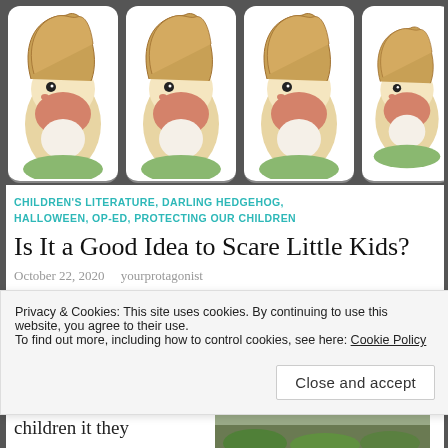[Figure (illustration): Four repeated hedgehog illustrations displayed as cards with rounded corners on a dark gray background strip at the top of the page]
CHILDREN'S LITERATURE, DARLING HEDGEHOG, HALLOWEEN, OP-ED, PROTECTING OUR CHILDREN
Is It a Good Idea to Scare Little Kids?
October 22, 2020   yourprotagonist
Would adults change their
[Figure (photo): Outdoor nature photo showing green shrubs and tree branches]
children it they
[Figure (photo): Second outdoor nature photo thumbnail]
Privacy & Cookies: This site uses cookies. By continuing to use this website, you agree to their use.
To find out more, including how to control cookies, see here: Cookie Policy